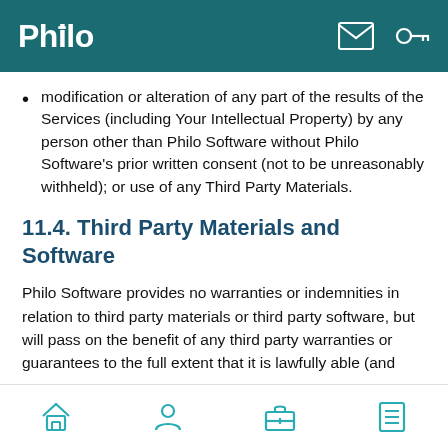Philo
modification or alteration of any part of the results of the Services (including Your Intellectual Property) by any person other than Philo Software without Philo Software's prior written consent (not to be unreasonably withheld); or use of any Third Party Materials.
11.4. Third Party Materials and Software
Philo Software provides no warranties or indemnities in relation to third party materials or third party software, but will pass on the benefit of any third party warranties or guarantees to the full extent that it is lawfully able (and
Bottom navigation bar